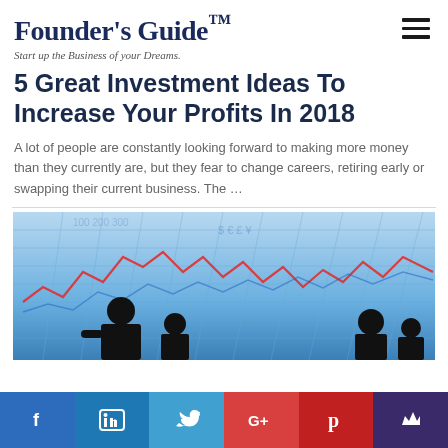Founder's Guide™ — Start up the Business of your Dreams.
5 Great Investment Ideas To Increase Your Profits In 2018
A lot of people are constantly looking forward to making more money than they currently are, but they fear to change careers, retiring early or swapping their current business. The ...
[Figure (photo): Silhouettes of business people standing in front of a large glass building facade overlaid with a red stock market line chart, representing investment and financial markets.]
Social share bar: Facebook, LinkedIn, Twitter, Google+, Pinterest, Email